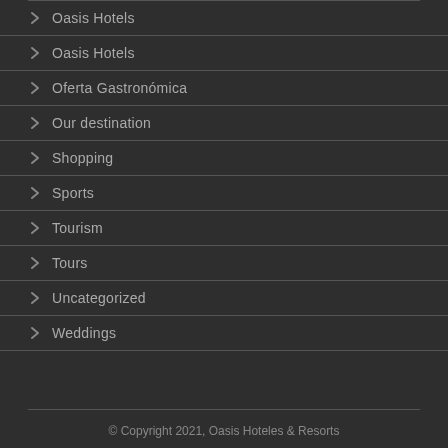Oasis Hotels
Oasis Hotels
Oferta Gastronómica
Our destination
Shopping
Sports
Tourism
Tours
Uncategorized
Weddings
© Copyright 2021, Oasis Hoteles & Resorts